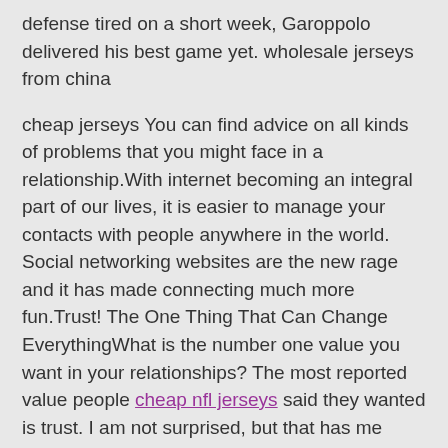defense tired on a short week, Garoppolo delivered his best game yet. wholesale jerseys from china
cheap jerseys You can find advice on all kinds of problems that you might face in a relationship.With internet becoming an integral part of our lives, it is easier to manage your contacts with people anywhere in the world. Social networking websites are the new rage and it has made connecting much more fun.Trust! The One Thing That Can Change EverythingWhat is the number one value you want in your relationships? The most reported value people cheap nfl jerseys said they wanted is trust. I am not surprised, but that has me more curious than ever about the subject. cheap jerseys
Cheap Jerseys free shipping Studies show that the ACL is under more stress when the knee is straight or bent five to 20 degrees. An inwardly directed force (think "knocked knee